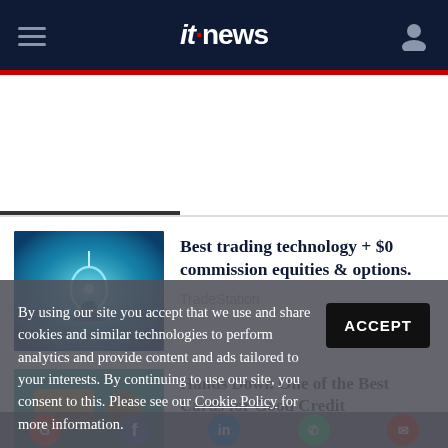itnews
[Figure (photo): Blue glowing technology image for TradeStation ad]
Best trading technology + $0 commission equities & options.
TradeStation
[Figure (photo): Green and gold card image for credit card ad]
Hands Down One of the Best Cards for Good Credit
By using our site you accept that we use and share cookies and similar technologies to perform analytics and provide content and ads tailored to your interests. By continuing to use our site, you consent to this. Please see our Cookie Policy for more information.